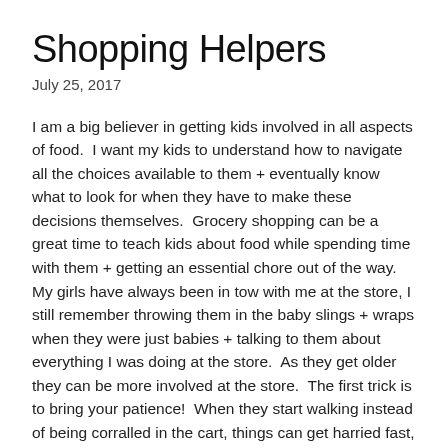Shopping Helpers
July 25, 2017
I am a big believer in getting kids involved in all aspects of food.  I want my kids to understand how to navigate all the choices available to them + eventually know what to look for when they have to make these decisions themselves.  Grocery shopping can be a great time to teach kids about food while spending time with them + getting an essential chore out of the way.  My girls have always been in tow with me at the store, I still remember throwing them in the baby slings + wraps when they were just babies + talking to them about everything I was doing at the store.  As they get older they can be more involved at the store.  The first trick is to bring your patience!  When they start walking instead of being corralled in the cart, things can get harried fast, but I always try to remind